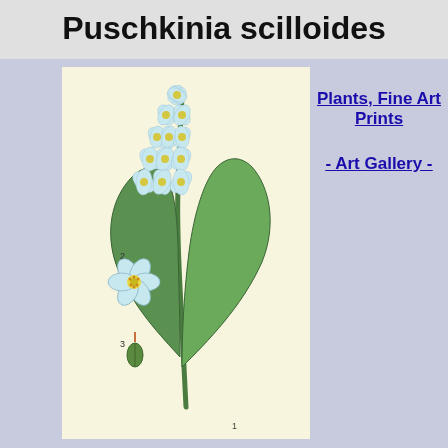Puschkinia scilloides
[Figure (illustration): Botanical illustration of Puschkinia scilloides showing the full plant with a tall flowering spike of pale blue flowers with yellow centers, two large green leaves, and detailed insets: 2 - single flower detail, 3 - seed pod detail. Label 1 at bottom right.]
Plants, Fine Art Prints - Art Gallery -